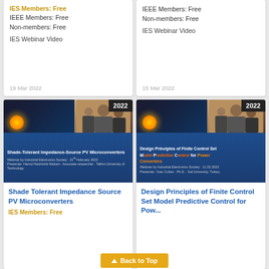IES Members: Free
IEEE Members: Free
Non-members: Free

IES Webinar Video
19 Mar 2022
IEEE Members: Free
Non-members: Free

IES Webinar Video
15 Mar 2022
[Figure (screenshot): Thumbnail for 'Shade-Tolerant Impedance-Source PV Microconverters' webinar with 2022 badge]
Shade Tolerant Impedance Source PV Microconverters
IES Members: Free
[Figure (screenshot): Thumbnail for 'Design Principles of Finite Control Set Model Predictive Control for Power Converters' webinar with 2022 badge]
Design Principles of Finite Control Set Model Predictive Control for Pow...
Back to Top